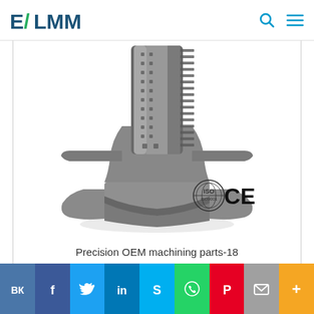ELMM (logo with navigation icons)
[Figure (photo): Precision OEM machining metal part — a cylindrical perforated column with flanged base and ribbed foot structure, shown in silver/grey metallic finish. ISO9001 and CE certification logos visible in lower right corner.]
Precision OEM machining parts-18
VK | Facebook | Twitter | LinkedIn | Skype | WhatsApp | Pinterest | Email | More